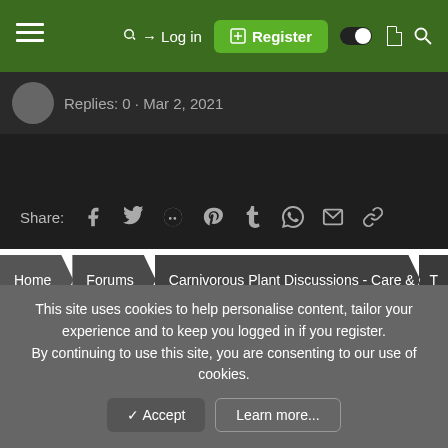Log in  Register
Replies: 0 · Mar 2, 2021
Share: [social icons: Facebook, Twitter, Reddit, Pinterest, Tumblr, WhatsApp, Email, Link]
Home > Forums > Carnivorous Plant Discussions - Care & General Inf > T
Carbon [toggle]
Contact us  Terms and rules  Privacy policy  Help  Home  [RSS]
Community platform by XenForo® © 2010-2021 XenForo Ltd.
// XenForo theme by xenfocus
This site uses cookies to help personalise content, tailor your experience and to keep you logged in if you register.
By continuing to use this site, you are consenting to our use of cookies.
[✓ Accept]  [Learn more...]